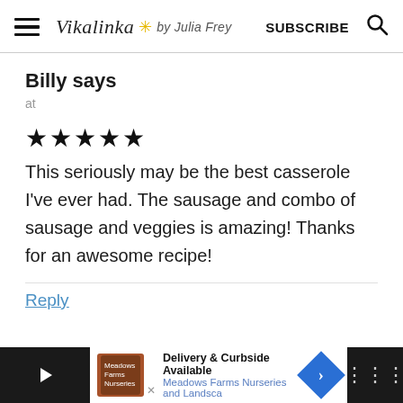Vikalinka ✳ by Julia Frey | SUBSCRIBE
Billy says
at
★★★★★
This seriously may be the best casserole I've ever had. The sausage and combo of sausage and veggies is amazing! Thanks for an awesome recipe!
Reply
Delivery & Curbside Available
Meadows Farms Nurseries and Landsca